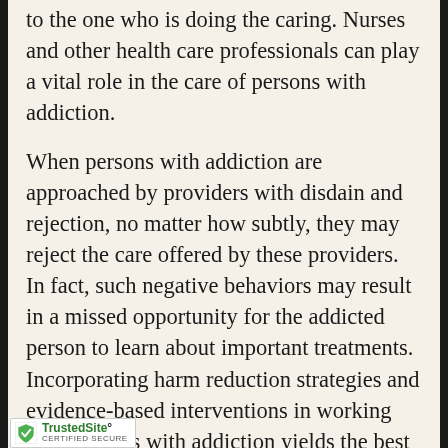to the one who is doing the caring. Nurses and other health care professionals can play a vital role in the care of persons with addiction.
When persons with addiction are approached by providers with disdain and rejection, no matter how subtly, they may reject the care offered by these providers. In fact, such negative behaviors may result in a missed opportunity for the addicted person to learn about important treatments. Incorporating harm reduction strategies and evidence-based interventions in working with persons with addiction yields the best opportunities for helping them get the care and treatment they need. Working from a theoretical model of Health Belief, respectful, non-judgmental cation and provider empathy with